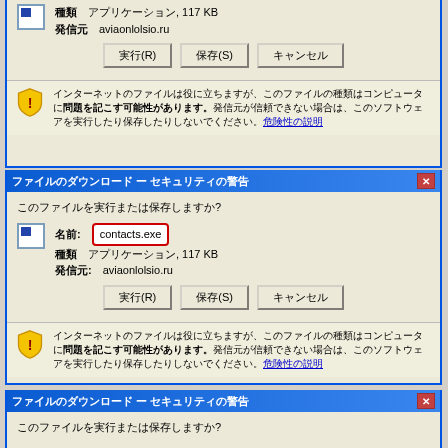[Figure (screenshot): Windows XP file download security warning dialog (top, partial view) showing file info: アプリケーション, 117 KB, from aviaonlolsio.ru, with buttons 実行(R), 保存(S), キャンセル and security warning text]
[Figure (screenshot): Windows XP file download security warning dialog (full view) - ファイルのダウンロード - セキュリティの警告, showing contacts.exe highlighted in red box, アプリケーション 117 KB, aviaonlolsio.ru, with buttons 実行(R), 保存(S), キャンセル and security warning]
[Figure (screenshot): Windows XP file download security warning dialog (bottom, partial view) showing title bar and question text このファイルを実行または保存しますか?]